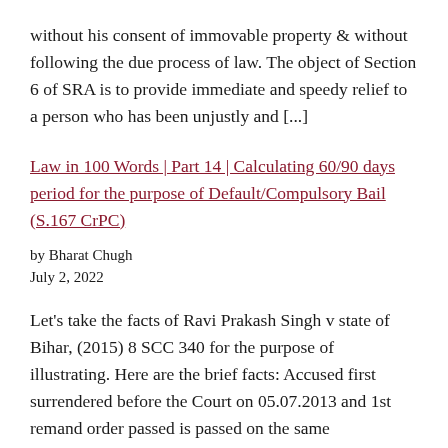without his consent of immovable property & without following the due process of law. The object of Section 6 of SRA is to provide immediate and speedy relief to a person who has been unjustly and [...]
Law in 100 Words | Part 14 | Calculating 60/90 days period for the purpose of Default/Compulsory Bail (S.167 CrPC)
by Bharat Chugh
July 2, 2022
Let's take the facts of Ravi Prakash Singh v state of Bihar, (2015) 8 SCC 340 for the purpose of illustrating. Here are the brief facts: Accused first surrendered before the Court on 05.07.2013 and 1st remand order passed is passed on the same